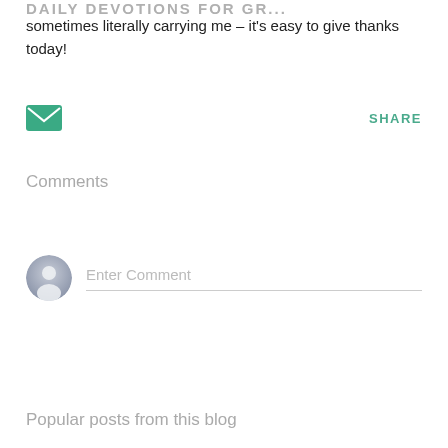DAILY DEVOTIONS FOR GR...
sometimes literally carrying me – it's easy to give thanks today!
[Figure (illustration): Green envelope email icon on the left, and a green 'SHARE' text button on the right]
Comments
[Figure (illustration): Default user avatar (gray silhouette) circle icon next to a comment input field with placeholder text 'Enter Comment' and a bottom border line]
Popular posts from this blog